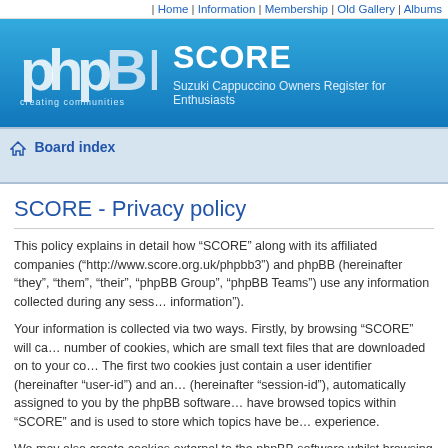| Home | Information | Membership | Old Gallery | Albums
[Figure (logo): phpBB logo with text 'creating communities' on blue gradient banner, alongside site title SCORE and subtitle 'Suzuki Cappuccino Owners Register for Enthusiasts']
Board index
SCORE - Privacy policy
This policy explains in detail how “SCORE” along with its affiliated companies (“http://www.score.org.uk/phpbb3”) and phpBB (hereinafter “they”, “them”, “their”, “phpBB Group”, “phpBB Teams”) use any information collected during any session of usage by you (hereinafter “your information”).
Your information is collected via two ways. Firstly, by browsing “SCORE” will cause the phpBB software to create a number of cookies, which are small text files that are downloaded on to your computer’s web browser temporary files. The first two cookies just contain a user identifier (hereinafter “user-id”) and an anonymous session identifier (hereinafter “session-id”), automatically assigned to you by the phpBB software. A third cookie will be created once you have browsed topics within “SCORE” and is used to store which topics have been read, thereby improving your viewing experience.
We may also create cookies external to the phpBB software whilst browsing “SCORE”, though these are outside the scope of this document which is intended to only cover the pages created by the